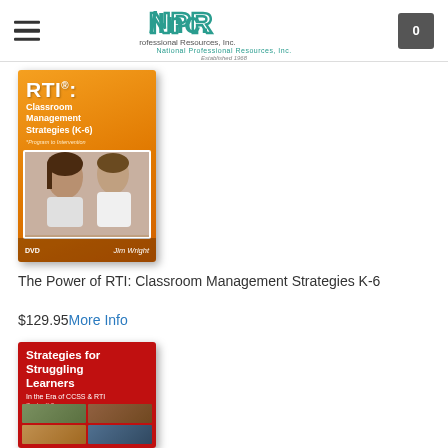NPR Inc. — National Professional Resources, Inc. — Established 1968
[Figure (photo): Book cover: RTI: Classroom Management Strategies (K-6) by Jim Wright, DVD]
The Power of RTI: Classroom Management Strategies K-6
$129.95More Info
[Figure (photo): Book cover: Strategies for Struggling Learners In the Era of CCSS & RTI Grades K-8 by Jim Wright]